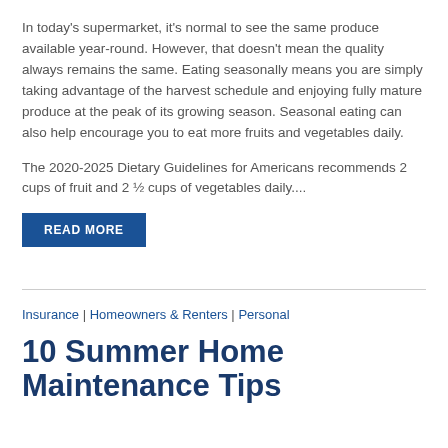In today's supermarket, it's normal to see the same produce available year-round. However, that doesn't mean the quality always remains the same. Eating seasonally means you are simply taking advantage of the harvest schedule and enjoying fully mature produce at the peak of its growing season. Seasonal eating can also help encourage you to eat more fruits and vegetables daily.
The 2020-2025 Dietary Guidelines for Americans recommends 2 cups of fruit and 2 ½ cups of vegetables daily....
READ MORE
Insurance | Homeowners & Renters | Personal
10 Summer Home Maintenance Tips